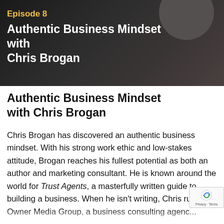[Figure (photo): Dark background podcast episode hero image with circular profile photo silhouette in top right, showing Episode 8 label and podcast title text overlaid]
Authentic Business Mindset with Chris Brogan
Chris Brogan has discovered an authentic business mindset. With his strong work ethic and low-stakes attitude, Brogan reaches his fullest potential as both an author and marketing consultant. He is known around the world for Trust Agents, a masterfully written guide to building a business. When he isn't writing, Chris runs Owner Media Group, a business consulting agency...